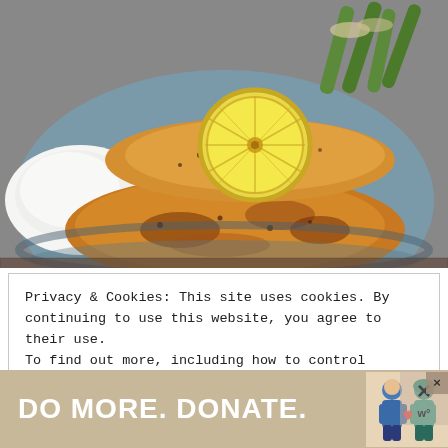[Figure (photo): Close-up photo of seasoned, pan-seared fish fillets on a blue-gray plate, topped with a lemon slice, with white rice on the left and green asparagus on the upper right.]
Privacy & Cookies: This site uses cookies. By continuing to use this website, you agree to their use.
To find out more, including how to control cookies, see here: Privacy Policy
[Figure (other): Advertisement banner reading 'DO MORE. DONATE.' with illustrated figures of two people, a close button (×), and a WordPress logo mark.]